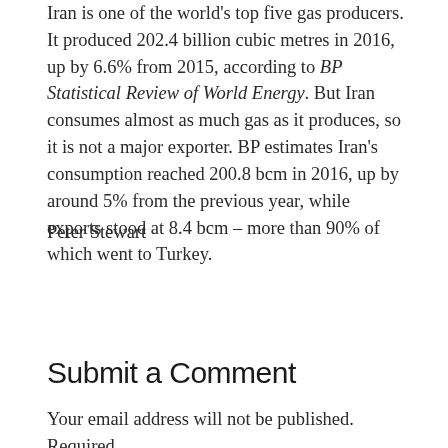Iran is one of the world's top five gas producers. It produced 202.4 billion cubic metres in 2016, up by 6.6% from 2015, according to BP Statistical Review of World Energy. But Iran consumes almost as much gas as it produces, so it is not a major exporter. BP estimates Iran's consumption reached 200.8 bcm in 2016, up by around 5% from the previous year, while exports stood at 8.4 bcm – more than 90% of which went to Turkey.
Peter Stewart
Submit a Comment
Your email address will not be published. Required